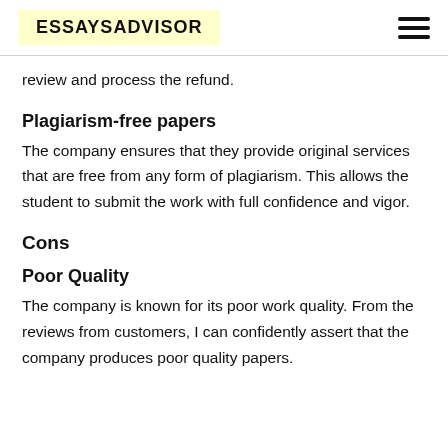ESSAYSADVISOR
review and process the refund.
Plagiarism-free papers
The company ensures that they provide original services that are free from any form of plagiarism. This allows the student to submit the work with full confidence and vigor.
Cons
Poor Quality
The company is known for its poor work quality. From the reviews from customers, I can confidently assert that the company produces poor quality papers.